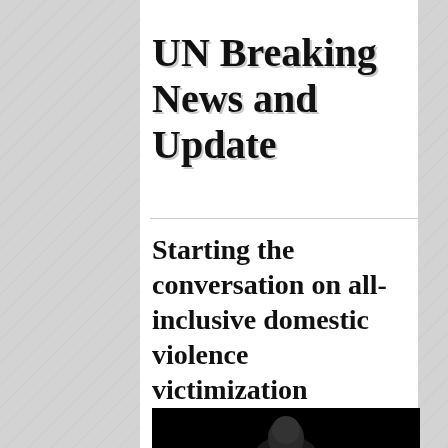UN Breaking News and Update
Starting the conversation on all-inclusive domestic violence victimization
[Figure (photo): Dark photo showing the top of a person's head at the bottom of the page]